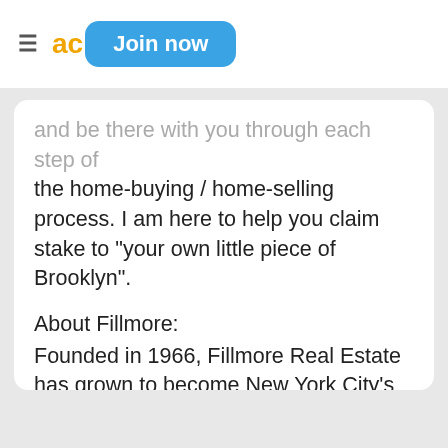≡ ad Join now
and be there with you through each step of the home-buying / home-selling process. I am here to help you claim stake to "your own little piece of Brooklyn".
About Fillmore:
Founded in 1966, Fillmore Real Estate has grown to become New York City's largest privately owned and operated real estate company. With twenty offices staffed by more than 500 hundred agents and 2 million hits to the web-site each month, "Fillmore Knows Brooklyn".